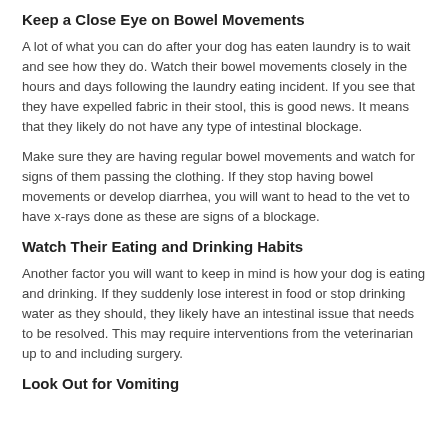Keep a Close Eye on Bowel Movements
A lot of what you can do after your dog has eaten laundry is to wait and see how they do. Watch their bowel movements closely in the hours and days following the laundry eating incident. If you see that they have expelled fabric in their stool, this is good news. It means that they likely do not have any type of intestinal blockage.
Make sure they are having regular bowel movements and watch for signs of them passing the clothing. If they stop having bowel movements or develop diarrhea, you will want to head to the vet to have x-rays done as these are signs of a blockage.
Watch Their Eating and Drinking Habits
Another factor you will want to keep in mind is how your dog is eating and drinking. If they suddenly lose interest in food or stop drinking water as they should, they likely have an intestinal issue that needs to be resolved. This may require interventions from the veterinarian up to and including surgery.
Look Out for Vomiting